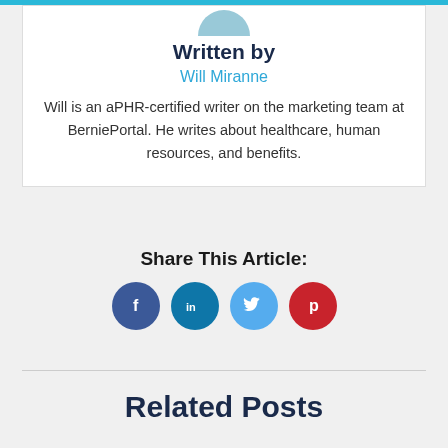Written by
Will Miranne
Will is an aPHR-certified writer on the marketing team at BerniePortal. He writes about healthcare, human resources, and benefits.
Share This Article:
[Figure (infographic): Social media share icons: Facebook (blue circle with f), LinkedIn (teal circle with in), Twitter (light blue circle with bird), Pinterest (red circle with p)]
Related Posts